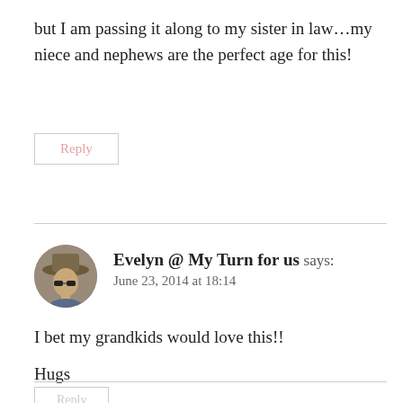but I am passing it along to my sister in law…my niece and nephews are the perfect age for this!
Reply
Evelyn @ My Turn for us says:
June 23, 2014 at 18:14
I bet my grandkids would love this!!

Hugs
Reply